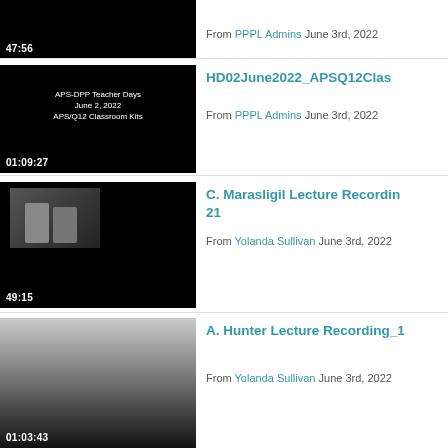[Figure (screenshot): Video thumbnail, black background, duration 47:56]
From PPPL Admins June 3rd, 2022
[Figure (screenshot): Video thumbnail, black background with text: APS-DPP Teacher Days / June 2, 2022 / APS/Q12 Classroom Kits, duration 01:09:27]
HD02June2022_APSQ12Clas
From PPPL Admins June 3rd, 2022
[Figure (screenshot): Video thumbnail showing two people, duration 49:15]
C. Marasligil Lecture Recording 21
From Yolanda Sullivan June 3rd, 2022
[Figure (screenshot): Video thumbnail, grey gradient background, duration 01:03:43]
A. Hunter Lecture Recording_1
From Yolanda Sullivan June 3rd, 2022